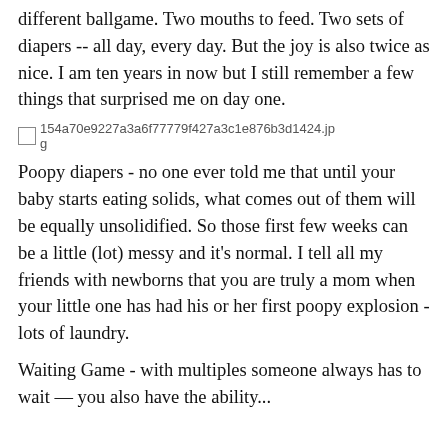different ballgame. Two mouths to feed. Two sets of diapers -- all day, every day. But the joy is also twice as nice. I am ten years in now but I still remember a few things that surprised me on day one.
[Figure (photo): Broken/missing image placeholder with filename 154a70e9227a3a6f77779f427a3c1e876b3d1424.jpg]
Poopy diapers - no one ever told me that until your baby starts eating solids, what comes out of them will be equally unsolidified. So those first few weeks can be a little (lot) messy and it's normal. I tell all my friends with newborns that you are truly a mom when your little one has had his or her first poopy explosion - lots of laundry.
Waiting Game - with multiples someone always has to wait — you also have the ability...